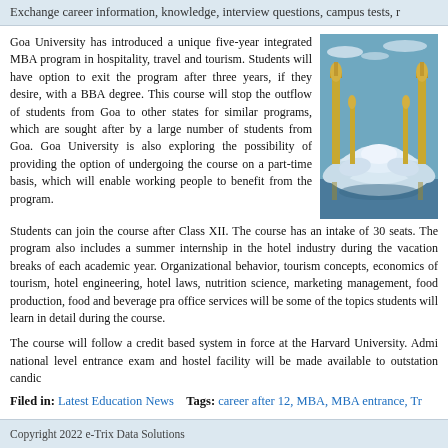Exchange career information, knowledge, interview questions, campus tests, r…
Goa University has introduced a unique five-year integrated MBA program in hospitality, travel and tourism. Students will have option to exit the program after three years, if they desire, with a BBA degree. This course will stop the outflow of students from Goa to other states for similar programs, which are sought after by a large number of students from Goa. Goa University is also exploring the possibility of providing the option of undergoing the course on a part-time basis, which will enable working people to benefit from the program.
[Figure (photo): Photo of a mosque or landmark building with golden minarets and a white dome structure, set against a blue sky with water reflection.]
Students can join the course after Class XII. The course has an intake of 30 seats. The program also includes a summer internship in the hotel industry during the vacation breaks of each academic year. Organizational behavior, tourism concepts, economics of tourism, hotel engineering, hotel laws, nutrition science, marketing management, food production, food and beverage pra… office services will be some of the topics students will learn in detail during the course.
The course will follow a credit based system in force at the Harvard University. Admi… national level entrance exam and hostel facility will be made available to outstation candic…
Filed in: Latest Education News    Tags: career after 12, MBA, MBA entrance, Tr…
Copyright 2022 e-Trix Data Solutions